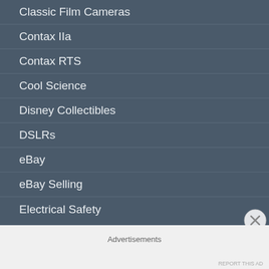Classic Film Cameras
Contax IIa
Contax RTS
Cool Science
Disney Collectibles
DSLRs
eBay
eBay Selling
Electrical Safety
Advertisements